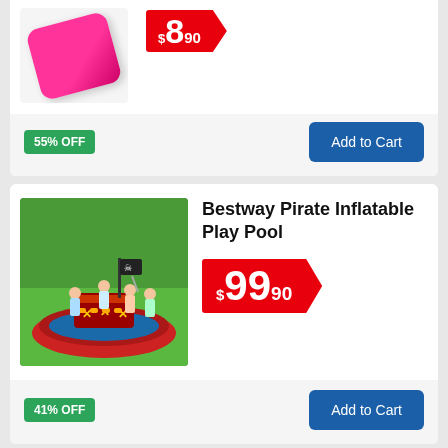[Figure (other): Pink mat product image with $8.90 price badge and 55% OFF label, Add to Cart button]
[Figure (photo): Bestway Pirate Inflatable Play Pool product image showing children playing in a pirate ship shaped inflatable pool outdoors]
Bestway Pirate Inflatable Play Pool
$99.90
41% OFF
[Figure (photo): 3 PC Set Luxe Bedding Set Waterproof Fitted product image with shopping cart icon and back to top icon]
3 PC Set Luxe Bedding Set Waterproof Fitted